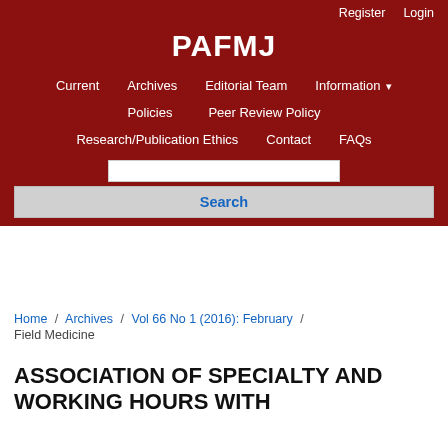Register  Login
PAFMJ
Current   Archives   Editorial Team   Information ▾   Policies   Peer Review Policy   Research/Publication Ethics   Contact   FAQs
Search
Home / Archives / Vol 66 No 1 (2016): February / Field Medicine
ASSOCIATION OF SPECIALTY AND WORKING HOURS WITH